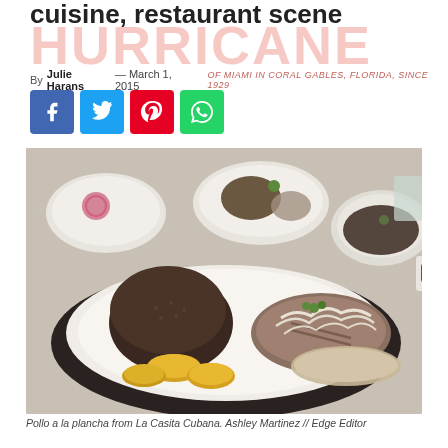cuisine, restaurant scene
By Julie Harans — March 1, 2015  OF MIAMI IN CORAL GABLES, FLORIDA, SINCE 1929
[Figure (illustration): Four social media share buttons: Facebook (blue), Twitter (light blue), Pinterest (red), WhatsApp (green)]
[Figure (photo): Pollo a la plancha from La Casita Cubana — a plate with black beans rice, tostones (fried plantains), and grilled chicken topped with onions, served on a tray with other Cuban dishes in the background.]
Pollo a la plancha from La Casita Cubana. Ashley Martinez // Edge Editor